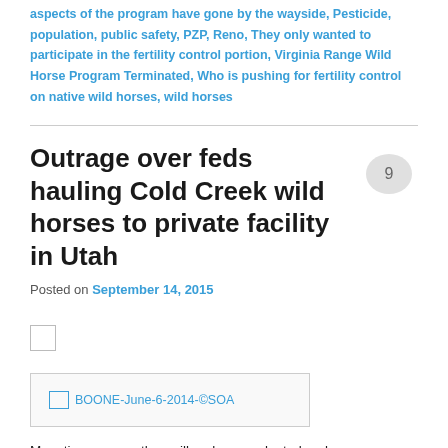aspects of the program have gone by the wayside, Pesticide, population, public safety, PZP, Reno, They only wanted to participate in the fertility control portion, Virginia Range Wild Horse Program Terminated, Who is pushing for fertility control on native wild horses, wild horses
Outrage over feds hauling Cold Creek wild horses to private facility in Utah
[Figure (other): Speech bubble / comment icon with the number 9 inside]
Posted on September 14, 2015
[Figure (other): Small checkbox (empty square)]
[Figure (photo): Image placeholder with broken image icon and label: BOONE-June-6-2014-©SOA]
Mounting concern they will end up unadopted and go